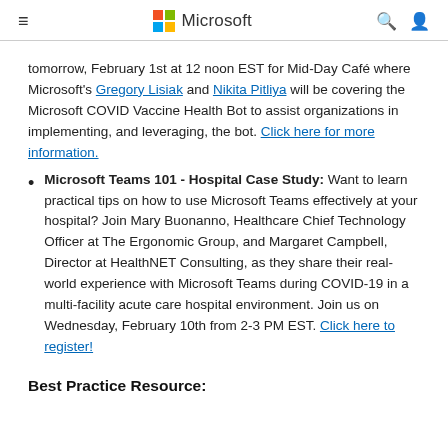Microsoft
tomorrow, February 1st at 12 noon EST for Mid-Day Café where Microsoft's Gregory Lisiak and Nikita Pitliya will be covering the Microsoft COVID Vaccine Health Bot to assist organizations in implementing, and leveraging, the bot. Click here for more information.
Microsoft Teams 101 - Hospital Case Study: Want to learn practical tips on how to use Microsoft Teams effectively at your hospital? Join Mary Buonanno, Healthcare Chief Technology Officer at The Ergonomic Group, and Margaret Campbell, Director at HealthNET Consulting, as they share their real-world experience with Microsoft Teams during COVID-19 in a multi-facility acute care hospital environment. Join us on Wednesday, February 10th from 2-3 PM EST. Click here to register!
Best Practice Resource: